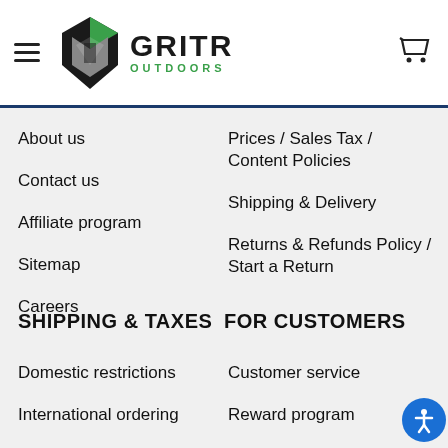GriTR Outdoors
About us
Prices / Sales Tax / Content Policies
Contact us
Shipping & Delivery
Affiliate program
Returns & Refunds Policy / Start a Return
Sitemap
Careers
SHIPPING & TAXES
FOR CUSTOMERS
Domestic restrictions
Customer service
International ordering
Reward program
Export policy
Offer Terms & Conditions